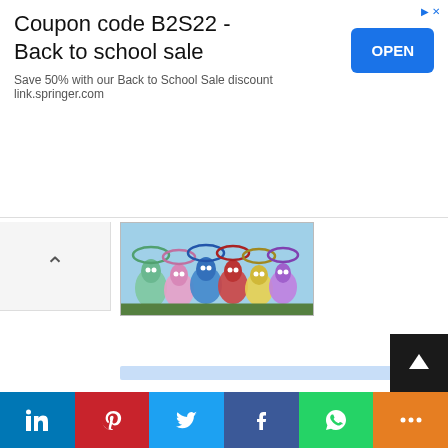[Figure (screenshot): Advertisement banner: Coupon code B2S22 - Back to school sale. Save 50% with our Back to School Sale discount link.springer.com. Blue OPEN button on right.]
[Figure (illustration): Book cover image for Bunch and the Amazing Akroozer Flying Machines showing colorful alien characters in flying machines]
Bunch and the Amazing Akroozer Flying Machines - Tracie Johansen Azpazaz bunch are back with an epic, whimsical, rhyming adventure in their Akroozer Flying Machines. Packed full of prepositions, adverbs, and adjectives along with the rhyme, this can be suitable for fun or as an early reader. Sample Text from Amazing Akroozer Flying Machines Are you ready to go on an adventure with …
[Figure (screenshot): Social share bar with LinkedIn, Pinterest, Twitter, Facebook, WhatsApp, and Share icons]